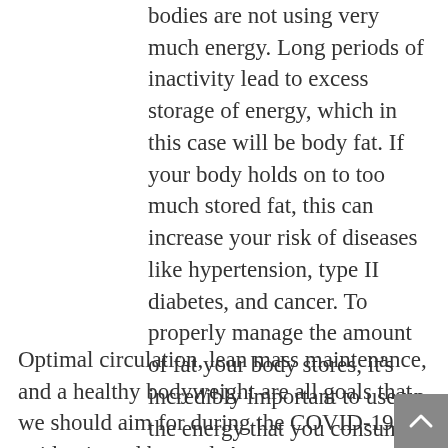bodies are not using very much energy. Long periods of inactivity lead to excess storage of energy, which in this case will be body fat. If your body holds on to too much stored fat, this can increase your risk of diseases like hypertension, type II diabetes, and cancer. To properly manage the amount of fat your body stores, it's incredibly important to use up the energy that you consume (calories). The human body naturally uses energy from food to maintain its complex systems, but physical activity is the best way to burn more calories. To fight off excess body fat and the risk of disease that comes with it, manage your energy intake and output!
Optimal circulation, lean mass maintenance, and a healthy bodyweight are all goals that we should aim for during the COVID-19 epidemic and beyond. As we